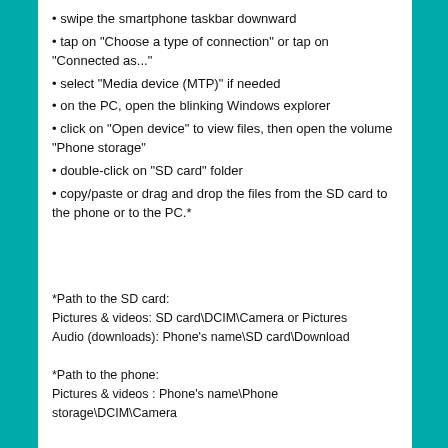swipe the smartphone taskbar downward
tap on "Choose a type of connection" or tap on "Connected as..."
select "Media device (MTP)" if needed
on the PC, open the blinking Windows explorer
click on "Open device" to view files, then open the volume "Phone storage"
double-click on "SD card" folder
copy/paste or drag and drop the files from the SD card to the phone or to the PC.*
*Path to the SD card:
Pictures & videos: SD card\DCIM\Camera or Pictures
Audio (downloads): Phone's name\SD card\Download
*Path to the phone:
Pictures & videos : Phone's name\Phone storage\DCIM\Camera